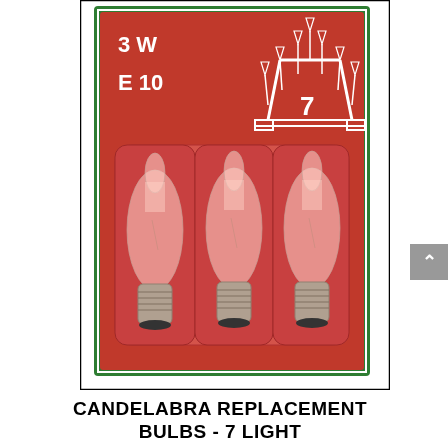[Figure (photo): Product package of candelabra replacement bulbs on a red and green card. The card shows '3 W' and 'E 10' text, a '7' number, and a white line drawing of a 7-light candelabra/arch. Three clear glass candle-shape bulbs with screw bases (E10) are shown in a blister pack on the red card.]
CANDELABRA REPLACEMENT BULBS - 7 LIGHT